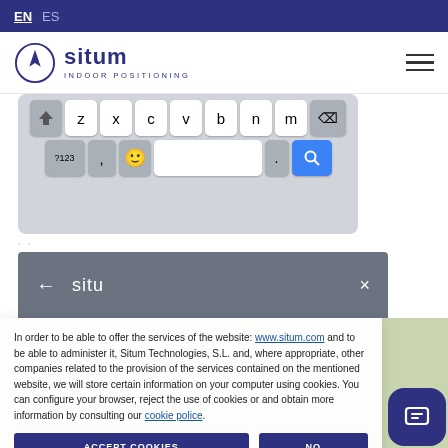EN  ES
[Figure (logo): Situm Indoor Positioning logo with compass circle icon]
[Figure (screenshot): Mobile keyboard showing bottom row: shift, z, x, c, v, b, n, m, backspace; and bottom row: ?123, comma, emoji, spacebar, period, search(blue)]
[Figure (screenshot): Search bar showing back arrow, search text 'situ', and X close button on dark gray background]
In order to be able to offer the services of the website: www.situm.com and to be able to administer it, Situm Technologies, S.L. and, where appropriate, other companies related to the provision of the services contained on the mentioned website, we will store certain information on your computer using cookies. You can configure your browser, reject the use of cookies or and obtain more information by consulting our cookie police.
ACCEPT COOKIES   NO